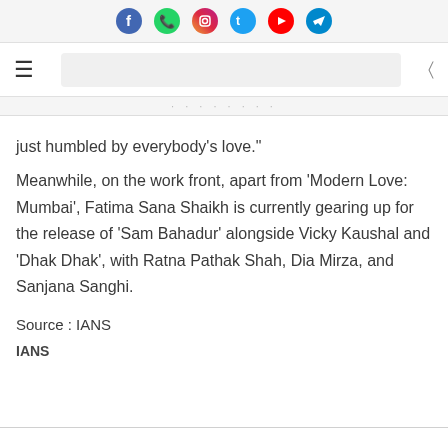Social media icons: Facebook, WhatsApp, Instagram, Twitter, YouTube, Telegram
Navigation bar with hamburger menu and search box
just humbled by everybody's love."
Meanwhile, on the work front, apart from 'Modern Love: Mumbai', Fatima Sana Shaikh is currently gearing up for the release of 'Sam Bahadur' alongside Vicky Kaushal and 'Dhak Dhak', with Ratna Pathak Shah, Dia Mirza, and Sanjana Sanghi.
Source : IANS
IANS